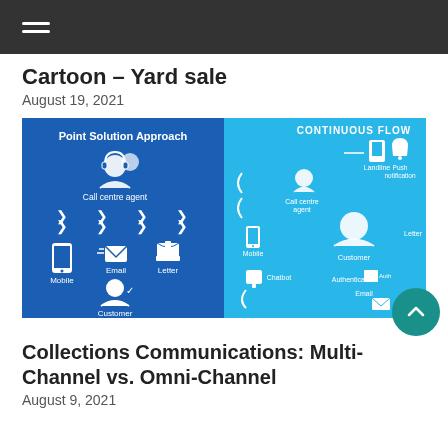Cartoon – Yard sale
August 19, 2021
[Figure (infographic): Two-panel infographic comparing Point Solution Approach (left, dark blue) and Continuous Flow (right, light blue), showing icons for Call centre agent, Mobile, Email, Letter, Customer channels with connecting arrows.]
Collections Communications: Multi-Channel vs. Omni-Channel
August 9, 2021